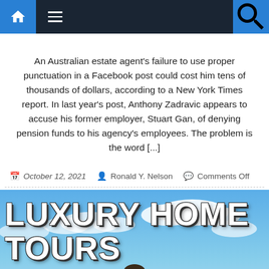Navigation bar with home, menu, and search icons
An Australian estate agent's failure to use proper punctuation in a Facebook post could cost him tens of thousands of dollars, according to a New York Times report. In last year's post, Anthony Zadravic appears to accuse his former employer, Stuart Gan, of denying pension funds to his agency's employees. The problem is the word [...]
October 12, 2021   Ronald Y. Nelson   Comments Off
[Figure (photo): Luxury Home Tours promotional image with large white bold text 'LUXURY HOME TOURS' overlaid on a sky background with clouds, and a person visible at the bottom center. A blue scroll-up button is in the bottom right corner.]